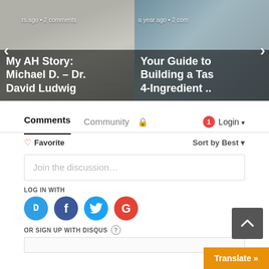[Figure (photo): Carousel with two article cards. Left card shows two men in dress shirts with text overlay 'My AH Story: Michael D. – Dr. David Ludwig' and meta 'rs ago • 2 comments'. Right card shows food/plant bowl with text overlay 'Your Guide to Building a Tas 4-Ingredient ..' and meta 'a year ago • 2 com'. Navigation arrows on left and right sides.]
Comments
Community
1  Login
♡ Favorite
Sort by Best
Join the discussion…
LOG IN WITH
OR SIGN UP WITH DISQUS ?
[Figure (screenshot): Scroll-to-top button (dark gray square with upward chevron arrow)]
Translate »